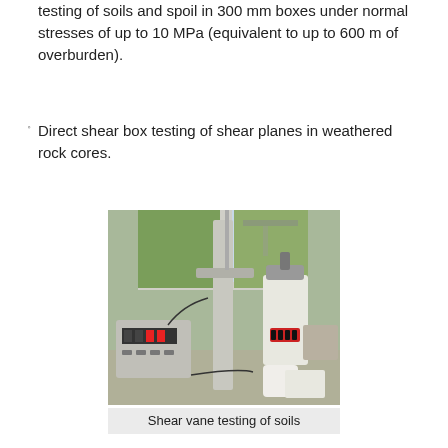testing of soils and spoil in 300 mm boxes under normal stresses of up to 10 MPa (equivalent to up to 600 m of overburden).
Direct shear box testing of shear planes in weathered rock cores.
[Figure (photo): Laboratory photo showing shear vane testing equipment on a bench, with windows and vegetation visible in the background. Equipment includes control units and a vane apparatus.]
Shear vane testing of soils